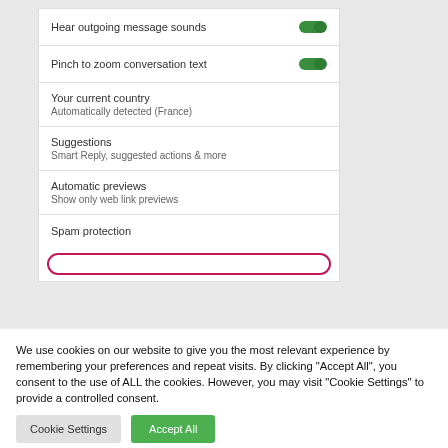[Figure (screenshot): Mobile app settings screen showing toggles for 'Hear outgoing message sounds' (on), 'Pinch to zoom conversation text' (on), and list items for 'Your current country' (Automatically detected (France)), 'Suggestions' (Smart Reply, suggested actions & more), 'Automatic previews' (Show only web link previews), 'Spam protection', and a partially visible pink rounded button at the bottom.]
We use cookies on our website to give you the most relevant experience by remembering your preferences and repeat visits. By clicking “Accept All”, you consent to the use of ALL the cookies. However, you may visit "Cookie Settings" to provide a controlled consent.
Cookie Settings
Accept All